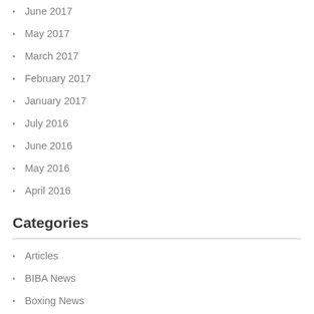June 2017
May 2017
March 2017
February 2017
January 2017
July 2016
June 2016
May 2016
April 2016
Categories
Articles
BIBA News
Boxing News
Fight Reports
Interviews